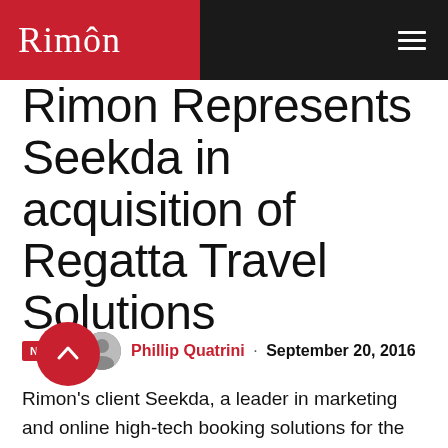RIMON
Rimon Represents Seekda in acquisition of Regatta Travel Solutions
NEWS  Phillip Quatrini · September 20, 2016
Rimon's client Seekda, a leader in marketing and online high-tech booking solutions for the eTourism sector, has acquired Regatta Travel Solutions, a top provider of booking engines to the hotel and destination marketing industries. This alliance is